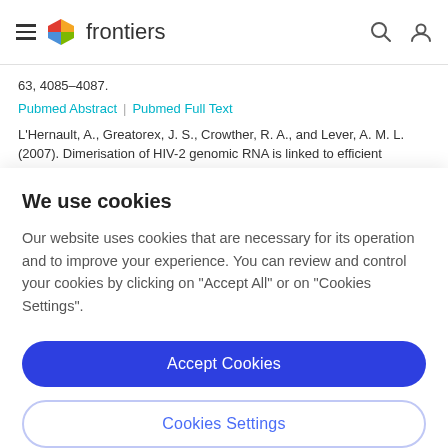frontiers
63, 4085–4087.
Pubmed Abstract | Pubmed Full Text
L'Hernault, A., Greatorex, J. S., Crowther, R. A., and Lever, A. M. L. (2007). Dimerisation of HIV-2 genomic RNA is linked to efficient
We use cookies
Our website uses cookies that are necessary for its operation and to improve your experience. You can review and control your cookies by clicking on "Accept All" or on "Cookies Settings".
Accept Cookies
Cookies Settings